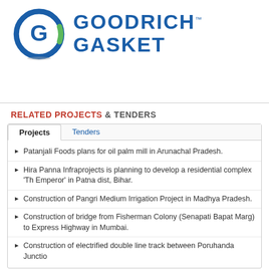[Figure (logo): Goodrich Gasket company logo with a circular G icon in blue and green, and the text GOODRICH GASKET in bold blue letters with TM mark]
RELATED PROJECTS & TENDERS
Patanjali Foods plans for oil palm mill in Arunachal Pradesh.
Hira Panna Infraprojects is planning to develop a residential complex 'The Emperor' in Patna dist, Bihar.
Construction of Pangri Medium Irrigation Project in Madhya Pradesh.
Construction of bridge from Fisherman Colony (Senapati Bapat Marg) to Express Highway in Mumbai.
Construction of electrified double line track between Poruhanda Junction...